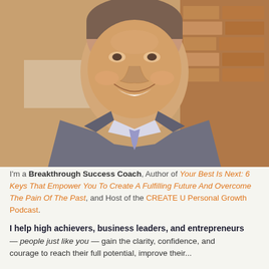[Figure (photo): Portrait photo of a smiling middle-aged man in a suit and tie, with a brick wall background]
I'm a Breakthrough Success Coach, Author of Your Best Is Next: 6 Keys That Empower You To Create A Fulfilling Future And Overcome The Pain Of The Past, and Host of the CREATE U Personal Growth Podcast.
I help high achievers, business leaders, and entrepreneurs — people just like you — gain the clarity, confidence, and courage to reach their full potential, improve their...